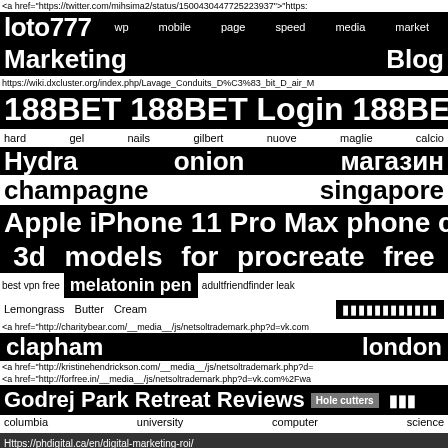<a href="https://twitter.com/mihsima2/status/1500430447725223937">"https:
loto777  wp  mobile  page  speed  media  market
Marketing  Blog
https://wiki.dxcluster.org/index.php/Lavage_Conduits_D%C3%83_bit_D_air_M
188BET 188BET Login 188BET Terbar
hard  gel  nails  gilbert  nuove  maglie  calcio
Hydra  onion  магазин
champagne  singapore
Apple iPhone 11 Pro Max phone case
3d  models  for  procreate  free
best vpn free  melatonin pen  adultfriendfinder leak
Lemongrass  Butter  Cream  ██████████
<a href="http://charitybear.com/__media__/js/netsoltrademark.php?d=vk.com
clapham  london
<a href="http://kristinehendrickson.com/__media__/js/netsoltrademark.php?d=
<a href="http://forfree.in/__media__/js/netsoltrademark.php?d=vk.com%2Fwa
Godrej Park Retreat Reviews  Hole cutters  ███
columbia  university  computer  science
Https://phdigital.ca/en/digital-marketing-roi/
dog  waste